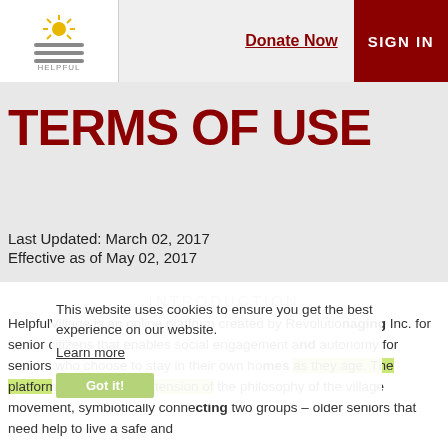[Figure (logo): Helpful Village logo with sun and lines icon]
Donate Now
SIGN IN
TERMS OF USE
Last Updated: March 02, 2017
Effective as of May 02, 2017
INTRODUCTION
This website uses cookies to ensure you get the best experience on our website. Learn more
Got it!
HelpfulVillage is an online platform created by Revolutionaging Inc. for senior citizens that enables social engagement and autonomy for seniors who choose to stay in their own homes as they age. The platform serves as an extension of the philosophy of the village movement, symbiotically connecting two groups – older seniors that need help to live a safe and